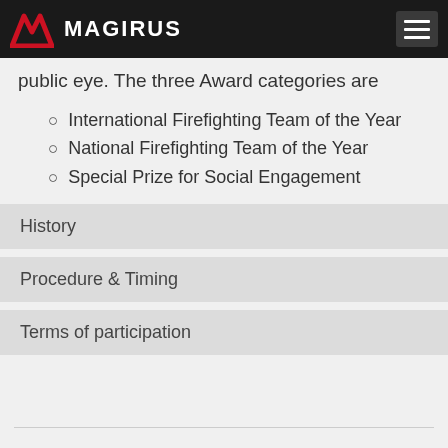MAGIRUS
public eye. The three Award categories are
International Firefighting Team of the Year
National Firefighting Team of the Year
Special Prize for Social Engagement
History
Procedure & Timing
Terms of participation